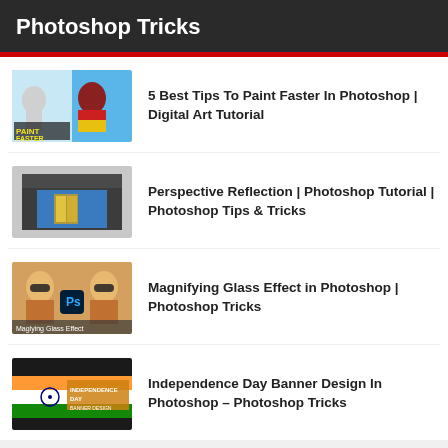Photoshop Tricks
5 Best Tips To Paint Faster In Photoshop | Digital Art Tutorial
Perspective Reflection | Photoshop Tutorial | Photoshop Tips & Tricks
Magnifying Glass Effect in Photoshop | Photoshop Tricks
Independence Day Banner Design In Photoshop – Photoshop Tricks